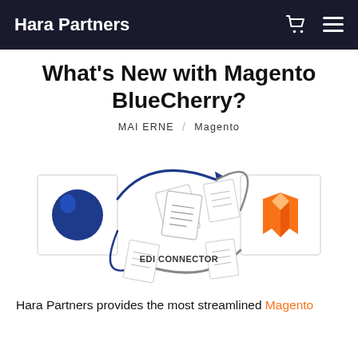Hara Partners
What's New with Magento BlueCherry?
MAI ERNE / Magento
[Figure (infographic): Diagram showing BlueCherry (left, blue cherry icon) and Magento (right, orange M icon) connected by circular arrows with an EDI CONNECTOR document icon in the center, representing data exchange between the two platforms.]
Hara Partners provides the most streamlined Magento